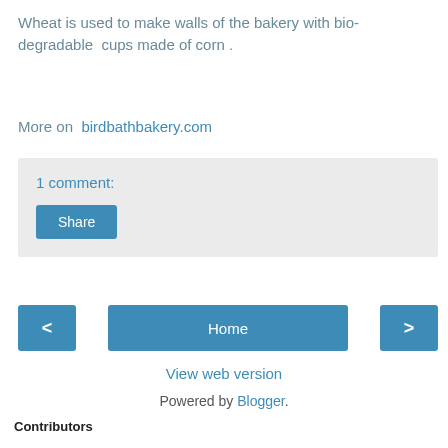Wheat is used to make walls of the bakery with bio-degradable  cups made of corn .
More on  birdbathbakery.com
1 comment:
Share
Home
View web version
Powered by Blogger.
Contributors
Unknown
subodh kumar singh